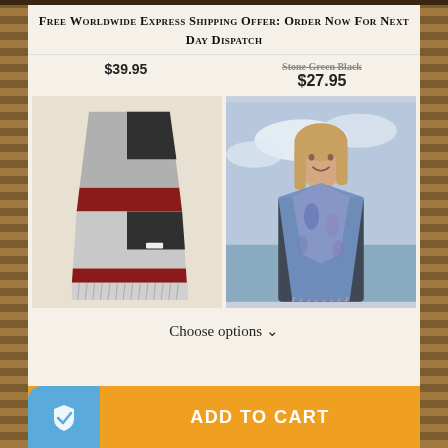Free Worldwide Express Shipping Offer: Order Now For Next Day Dispatch
$39.95
$27.95
[Figure (photo): A folded plaid wool scarf in grey, black, and red with fringe ends]
[Figure (photo): A woman wearing a blue and purple paisley scarf outdoors near the ocean]
Choose options ∨
ADD TO CART